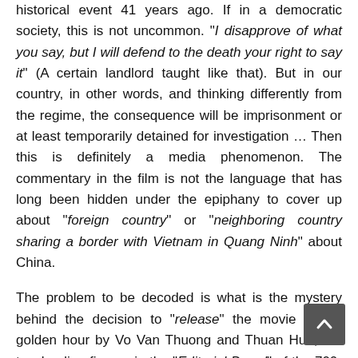historical event 41 years ago. If in a democratic society, this is not uncommon. “I disapprove of what you say, but I will defend to the death your right to say it” (A certain landlord taught like that). But in our country, in other words, and thinking differently from the regime, the consequence will be imprisonment or at least temporarily detained for investigation … Then this is definitely a media phenomenon. The commentary in the film is not the language that has long been hidden under the epiphany to cover up about “foreign country” or “neighboring country sharing a border with Vietnam in Quang Ninh” about China.
The problem to be decoded is what is the mystery behind the decision to “release” the movie in the golden hour by Vo Van Thuong and Thuan Huu, the two leading figures in the “Editorial Board” of the 700-800 newspapers and magazines in Vietnam today? Is it possible: i) This is the “pivot” of the CPV’s Central